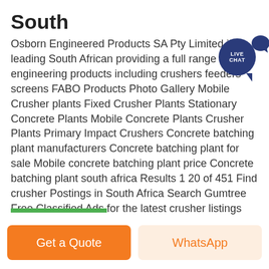South
Osborn Engineered Products SA Pty Limited is a leading South African providing a full range of engineering products including crushers feeders screens FABO Products Photo Gallery Mobile Crusher plants Fixed Crusher Plants Stationary Concrete Plants Mobile Concrete Plants Crusher Plants Primary Impact Crushers Concrete batching plant manufacturers Concrete batching plant for sale Mobile concrete batching plant price Concrete batching plant south africa Results 1 20 of 451 Find crusher Postings in South Africa Search Gumtree Free Classified Ads for the latest crusher listings and more Contact for Price Building and roads aggregates 6mm 13mm 19mm 37mm concrete stone Brown landscaping stone jaw crusher jaw crushers impact crusher ice crusher cone
[Figure (other): Live Chat speech bubble icon in dark navy blue with white text reading LIVE CHAT]
Get a Quote
WhatsApp